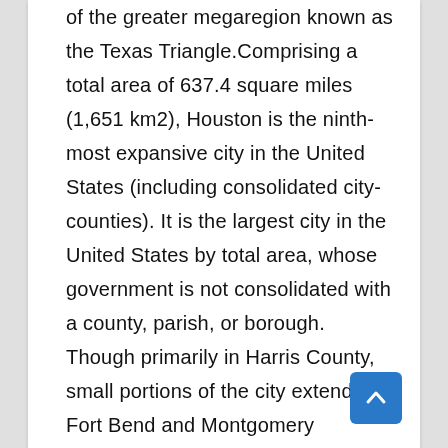of the greater megaregion known as the Texas Triangle.Comprising a total area of 637.4 square miles (1,651 km2), Houston is the ninth-most expansive city in the United States (including consolidated city-counties). It is the largest city in the United States by total area, whose government is not consolidated with a county, parish, or borough. Though primarily in Harris County, small portions of the city extend into Fort Bend and Montgomery counties, bordering other principal communities of Greater Houston such as Sugar Land and The Woodlands.